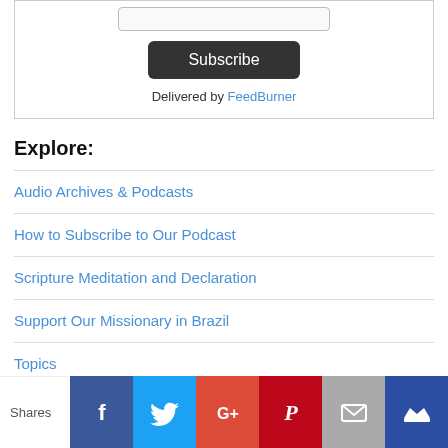[Figure (screenshot): Subscribe button and FeedBurner delivery notice inside a bordered box]
Explore:
Audio Archives & Podcasts
How to Subscribe to Our Podcast
Scripture Meditation and Declaration
Support Our Missionary in Brazil
Topics
Who Are We?
Speakers:
[Figure (screenshot): Social sharing bar with Shares label and icons for Facebook, Twitter, Google+, Pinterest, Email, and Crown/Bloglovin]